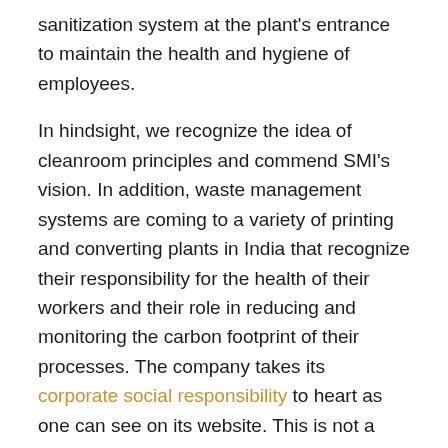sanitization system at the plant's entrance to maintain the health and hygiene of employees.
In hindsight, we recognize the idea of cleanroom principles and commend SMI's vision. In addition, waste management systems are coming to a variety of printing and converting plants in India that recognize their responsibility for the health of their workers and their role in reducing and monitoring the carbon footprint of their processes. The company takes its corporate social responsibility to heart as one can see on its website. This is not a template or cut and paste policy but an actionable instance of a humble and smart company.
Matho is a German manufacturer of granulators and waste extraction systems for the packaging, converting, and label industries, and has started to...